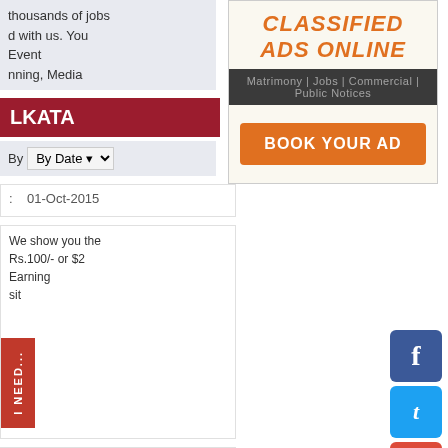thousands of jobs
d with us. You
Event
nning, Media
LKATA
By  By Date
[Figure (screenshot): Classified Ads Online advertisement banner with orange title, dark nav bar showing Matrimony, Jobs, Commercial, Public Notices, and orange Book Your Ad button]
01-Oct-2015
We show you the
Rs.100/- or $2
Earning
sit
I NEED...
08-Sep-2015